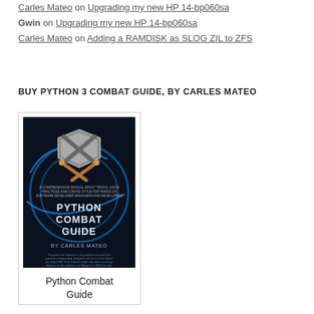Carles Mateo on Upgrading my new HP 14-bp060sa
Gwin on Upgrading my new HP 14-bp060sa
Carles Mateo on Adding a RAMDISK as SLOG ZIL to ZFS
BUY PYTHON 3 COMBAT GUIDE, BY CARLES MATEO
[Figure (illustration): Book cover of Python Combat Guide by Carles Mateo, dark blue background with shield and crossed tools graphic, with text 'Python Combat Guide' and 'By Carles Mateo']
Python Combat Guide